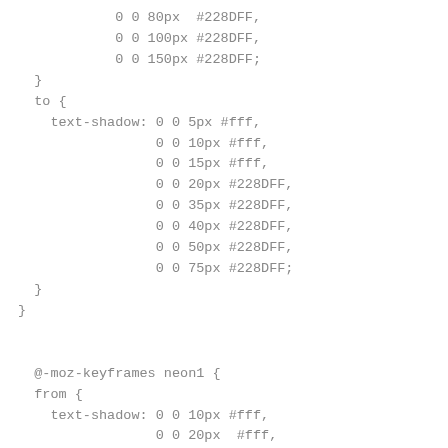0 0 80px  #228DFF,
            0 0 100px #228DFF,
            0 0 150px #228DFF;
  }
  to {
    text-shadow: 0 0 5px #fff,
                 0 0 10px #fff,
                 0 0 15px #fff,
                 0 0 20px #228DFF,
                 0 0 35px #228DFF,
                 0 0 40px #228DFF,
                 0 0 50px #228DFF,
                 0 0 75px #228DFF;
  }
}


  @-moz-keyframes neon1 {
  from {
    text-shadow: 0 0 10px #fff,
                 0 0 20px  #fff,
                 0 0 30px  #fff,
                 0 0 40px  #ff0000,